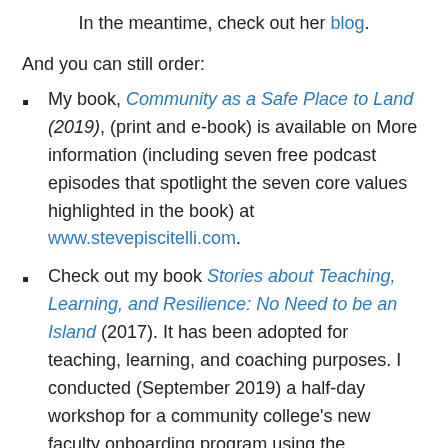In the meantime, check out her blog.
And you can still order:
My book, Community as a Safe Place to Land (2019), (print and e-book) is available on More information (including seven free podcast episodes that spotlight the seven core values highlighted in the book) at www.stevepiscitelli.com.
Check out my book Stories about Teaching, Learning, and Resilience: No Need to be an Island (2017). It has been adopted for teaching, learning, and coaching purposes. I conducted (September 2019) a half-day workshop for a community college's new faculty onboarding program using the scenarios in this book. Contact me if you and your team are interested in doing the same. The accompanying videos would